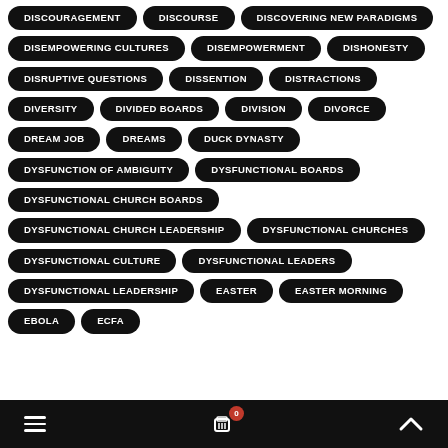DISCOURAGEMENT
DISCOURSE
DISCOVERING NEW PARADIGMS
DISEMPOWERING CULTURES
DISEMPOWERMENT
DISHONESTY
DISRUPTIVE QUESTIONS
DISSENTION
DISTRACTIONS
DIVERSITY
DIVIDED BOARDS
DIVISION
DIVORCE
DREAM JOB
DREAMS
DUCK DYNASTY
DYSFUNCTION OF AMBIGUITY
DYSFUNCTIONAL BOARDS
DYSFUNCTIONAL CHURCH BOARDS
DYSFUNCTIONAL CHURCH LEADERSHIP
DYSFUNCTIONAL CHURCHES
DYSFUNCTIONAL CULTURE
DYSFUNCTIONAL LEADERS
DYSFUNCTIONAL LEADERSHIP
EASTER
EASTER MORNING
EBOLA
ECFA
≡  0  ∧